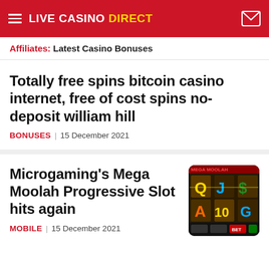LIVE CASINO DIRECT
Affiliates: Latest Casino Bonuses
Totally free spins bitcoin casino internet, free of cost spins no-deposit william hill
BONUSES | 15 December 2021
Microgaming's Mega Moolah Progressive Slot hits again
[Figure (screenshot): Slot machine game screenshot showing colorful reel symbols including Q, J, A, 10 on a dark background]
MOBILE | 15 December 2021